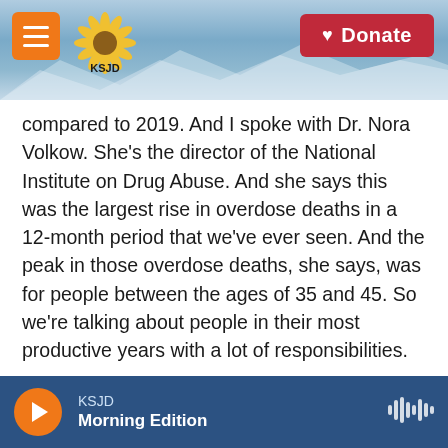KSJD — Donate
compared to 2019. And I spoke with Dr. Nora Volkow. She's the director of the National Institute on Drug Abuse. And she says this was the largest rise in overdose deaths in a 12-month period that we've ever seen. And the peak in those overdose deaths, she says, was for people between the ages of 35 and 45. So we're talking about people in their most productive years with a lot of responsibilities.
NORA VOLKOW: The magnitude of the cost to our society of lives lost from overdoses is gigantic.
CHATTERJEE: And she says that the pandemic
KSJD Morning Edition